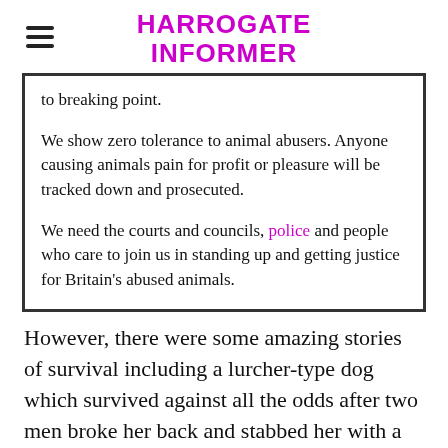HARROGATE INFORMER
to breaking point.

We show zero tolerance to animal abusers. Anyone causing animals pain for profit or pleasure will be tracked down and prosecuted.

We need the courts and councils, police and people who care to join us in standing up and getting justice for Britain's abused animals.
However, there were some amazing stories of survival including a lurcher-type dog which survived against all the odds after two men broke her back and stabbed her with a potato peeler before